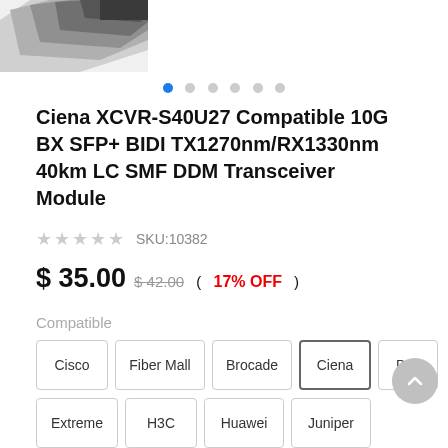[Figure (photo): Partial view of a transceiver module product image, dark hardware component visible at top-left corner]
Ciena XCVR-S40U27 Compatible 10G BX SFP+ BIDI TX1270nm/RX1330nm 40km LC SMF DDM Transceiver Module
SKU:10382
$ 35.00  $ 42.00  ( 17% OFF )
Compatible
Cisco
Fiber Mall
Brocade
Ciena
Dell
Extreme
H3C
Huawei
Juniper